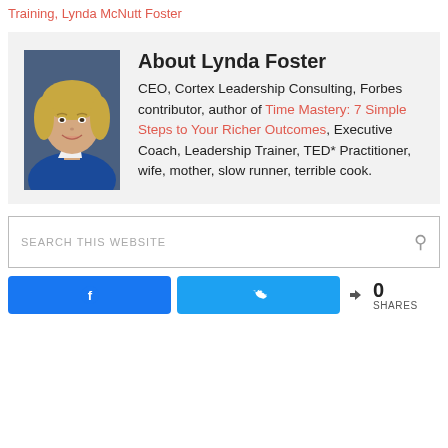Training, Lynda McNutt Foster
[Figure (photo): Portrait photo of Lynda Foster, a blonde woman wearing a blue blazer, smiling]
About Lynda Foster
CEO, Cortex Leadership Consulting, Forbes contributor, author of Time Mastery: 7 Simple Steps to Your Richer Outcomes, Executive Coach, Leadership Trainer, TED* Practitioner, wife, mother, slow runner, terrible cook.
SEARCH THIS WEBSITE